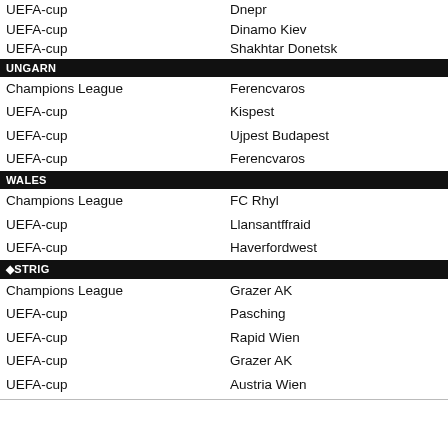| Competition | Club |
| --- | --- |
| UEFA-cup | Dnepr |
| UEFA-cup | Dinamo Kiev |
| UEFA-cup | Shakhtar Donetsk |
UNGARN
| Competition | Club |
| --- | --- |
| Champions League | Ferencvaros |
| UEFA-cup | Kispest |
| UEFA-cup | Ujpest Budapest |
| UEFA-cup | Ferencvaros |
WALES
| Competition | Club |
| --- | --- |
| Champions League | FC Rhyl |
| UEFA-cup | Llansantffraid |
| UEFA-cup | Haverfordwest |
🔷STRIG
| Competition | Club |
| --- | --- |
| Champions League | Grazer AK |
| UEFA-cup | Pasching |
| UEFA-cup | Rapid Wien |
| UEFA-cup | Grazer AK |
| UEFA-cup | Austria Wien |